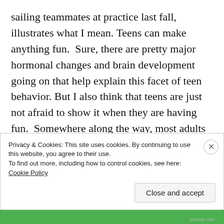sailing teammates at practice last fall, illustrates what I mean. Teens can make anything fun.  Sure, there are pretty major hormonal changes and brain development going on that help explain this facet of teen behavior. But I also think that teens are just not afraid to show it when they are having fun.  Somewhere along the way, most adults seem to lose the capacity for emotion that they had as teens.  We keep it in, stuff it down, don't laugh out loud. Living with a teenager is a good reminder that sometimes you just need to turn up the
Privacy & Cookies: This site uses cookies. By continuing to use this website, you agree to their use.
To find out more, including how to control cookies, see here: Cookie Policy
Close and accept